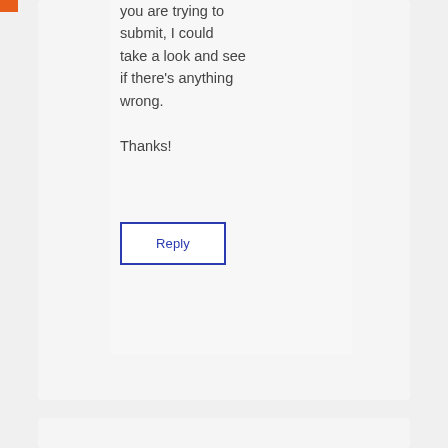you are trying to submit, I could take a look and see if there's anything wrong.

Thanks!
Reply